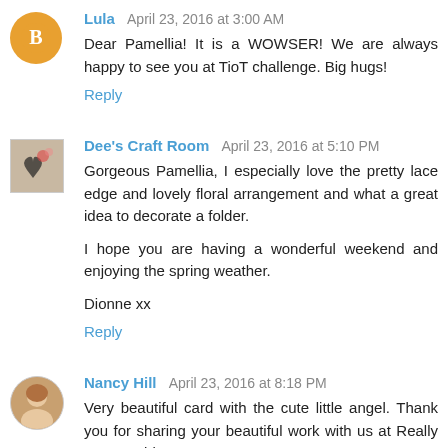Lula  April 23, 2016 at 3:00 AM
Dear Pamellia! It is a WOWSER! We are always happy to see you at TioT challenge. Big hugs!
Reply
Dee's Craft Room  April 23, 2016 at 5:10 PM
Gorgeous Pamellia, I especially love the pretty lace edge and lovely floral arrangement and what a great idea to decorate a folder.

I hope you are having a wonderful weekend and enjoying the spring weather.

Dionne xx
Reply
Nancy Hill  April 23, 2016 at 8:18 PM
Very beautiful card with the cute little angel. Thank you for sharing your beautiful work with us at Really Reasonable...